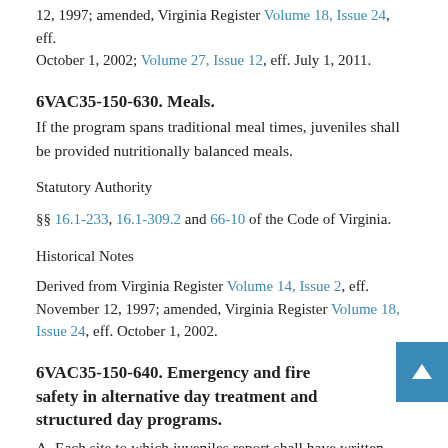12, 1997; amended, Virginia Register Volume 18, Issue 24, eff. October 1, 2002; Volume 27, Issue 12, eff. July 1, 2011.
6VAC35-150-630. Meals.
If the program spans traditional meal times, juveniles shall be provided nutritionally balanced meals.
Statutory Authority
§§ 16.1-233, 16.1-309.2 and 66-10 of the Code of Virginia.
Historical Notes
Derived from Virginia Register Volume 14, Issue 2, eff. November 12, 1997; amended, Virginia Register Volume 18, Issue 24, eff. October 1, 2002.
6VAC35-150-640. Emergency and fire safety in alternative day treatment and structured day programs.
A. Each site to which juveniles report shall have written emergency and fire safety plans.
1. In accordance with the emergency plan, the program